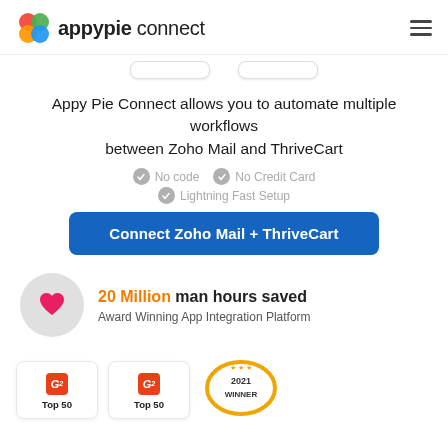appypie connect
Appy Pie Connect allows you to automate multiple workflows between Zoho Mail and ThriveCart
No code
No Credit Card
Lightning Fast Setup
Connect Zoho Mail + ThriveCart
20 Million man hours saved
Award Winning App Integration Platform
[Figure (infographic): Two G2 Top 50 badges and a 2021 Winner award badge at bottom of page]